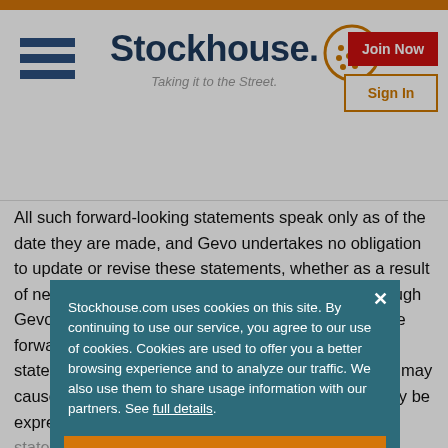[Figure (logo): Stockhouse logo with hamburger menu, brand name 'Stockhouse. Taking it to the Street.' tagline, and face icon, plus Join Now and Sign In buttons]
All such forward-looking statements speak only as of the date they are made, and Gevo undertakes no obligation to update or revise these statements, whether as a result of new information, future events or otherwise. Although Gevo believes that the expectations reflected in these forward-looking statements are reasonable, these statements involve many risks and uncertainties that may cause actual results to differ materially from what may be expressed or implied by these forward-looking statements. A list of factors that could cause actual results to differ materially from those described in the forward-looking statements can be found in Gevo's Annual Report on Form 10-K as filed with the Securities and Exchange Commission. Quarterly Report on Form 10-Q and Gevo's other reports filed with the SEC from time to time, and Exhibit...
Stockhouse.com uses cookies on this site. By continuing to use our service, you agree to our use of cookies. Cookies are used to offer you a better browsing experience and to analyze our traffic. We also use them to share usage information with our partners. See full details.
I Agree